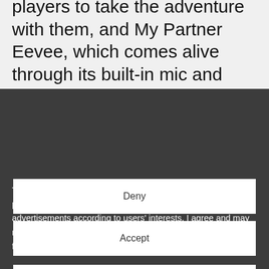players to take the adventure with them, and My Partner Eevee, which comes alive through its built-in mic and touch-sensor technology. Ravensburger
This site uses third-party website tracking technologies to provide and continually improve our services, and to display advertisements according to users' interests. I agree and may revoke or change my consent at any time with effect for the future.
Deny
Accept
more
Powered by usercentrics